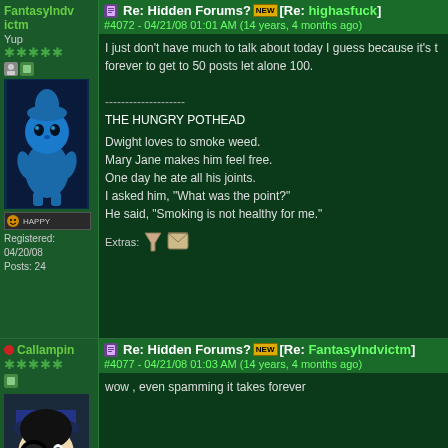FantasyIndvictm
Yup
[Figure (illustration): Blue smurf character illustration on dark background]
HAPPY mood bar
Registered: 04/20/08
Posts: 24
Re: Hidden Forums? [NEW] [Re: highasfuck]
#4072 - 04/21/08 01:01 AM (14 years, 4 months ago)
I just don't have much to talk about today I guess because it's t forever to get to 50 posts let alone 100.

--------------------
THE HUNGRY POTHEAD

Dwight loves to smoke weed.
Mary Jane makes him feel free.
One day he ate all his joints.
I asked him, "What was the point?"
He said, "Smoking is not healthy for me."
Extras:
Callampin
[Figure (illustration): Anime character with dark glasses illustration]
RELAXED mood bar
Registered: 04/20/08
Posts: 122
Re: Hidden Forums? [NEW] [Re: FantasyIndvictm]
#4077 - 04/21/08 01:03 AM (14 years, 4 months ago)
wow , even spamming it takes forever